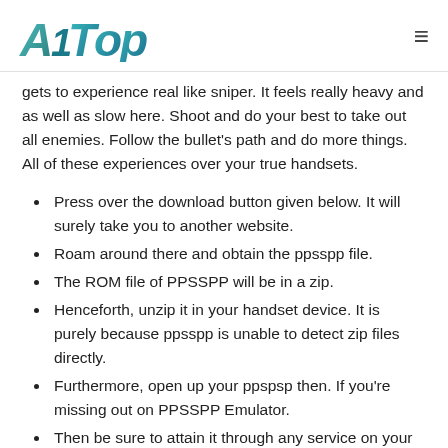A1Top
gets to experience real like sniper. It feels really heavy and as well as slow here. Shoot and do your best to take out all enemies. Follow the bullet's path and do more things. All of these experiences over your true handsets.
Press over the download button given below. It will surely take you to another website.
Roam around there and obtain the ppsspp file.
The ROM file of PPSSPP will be in a zip.
Henceforth, unzip it in your handset device. It is purely because ppsspp is unable to detect zip files directly.
Furthermore, open up your ppspsp then. If you're missing out on PPSSPP Emulator.
Then be sure to attain it through any service on your handset.
At the end for the steps. Of course run the PPSSPP file